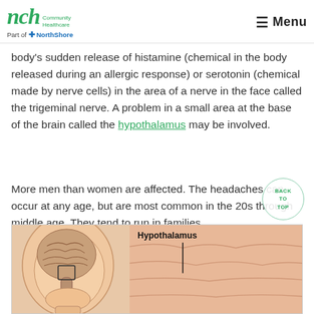nch Community Healthcare | Part of NorthShore | Menu
body's sudden release of histamine (chemical in the body released during an allergic response) or serotonin (chemical made by nerve cells) in the area of a nerve in the face called the trigeminal nerve. A problem in a small area at the base of the brain called the hypothalamus may be involved.
More men than women are affected. The headaches can occur at any age, but are most common in the 20s through middle age. They tend to run in families.
[Figure (illustration): Anatomical illustration showing a cross-section of a human head with the brain visible, and a zoomed-in view of the hypothalamus region with a label 'Hypothalamus' and a pointer line.]